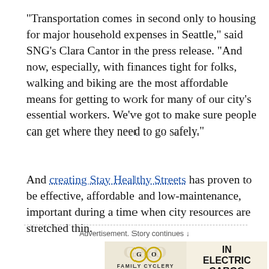“Transportation comes in second only to housing for major household expenses in Seattle,” said SNG’s Clara Cantor in the press release. “And now, especially, with finances tight for folks, walking and biking are the most affordable means for getting to work for many of our city’s essential workers. We’ve got to make sure people can get where they need to go safely.”
And creating Stay Healthy Streets has proven to be effective, affordable and low-maintenance, important during a time when city resources are stretched thin.
Advertisement. Story continues ↓
[Figure (photo): Advertisement for G&O Family Cyclery specializing in electric cargo bikes. Shows logo with G&O letters and 'FAMILY CYCLERY' text, with overlay text 'SPECIALIZING IN ELECTRIC CARGO'.]